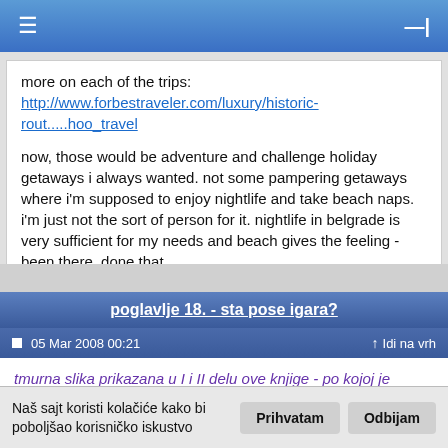≡  —|
more on each of the trips: http://www.forbestraveler.com/luxury/historic-rout.....hoo_travel

now, those would be adventure and challenge holiday getaways i always wanted. not some pampering getaways where i'm supposed to enjoy nightlife and take beach naps. i'm just not the sort of person for it. nightlife in belgrade is very sufficient for my needs and beach gives the feeling - been there, done that
poglavlje 18. - sta pose igara?
05 Mar 2008 00:21   Idi na vrh
tmurna slika prikazana u I i II delu ove knjige - po kojoj je ljudski zivot svodljiv na popunjavanje vremena do dolaska smrti ili deda mraza, sa vrlo malo ili nimalo izbora onoga sto ce covek razmenjivati sa drugima tokom dugog cekanja - jete opstepoznata, ali ne predstavlja konacan odgovor.
Naš sajt koristi kolačiće kako bi poboljšao korisničko iskustvo   Prihvatam  Odbijam